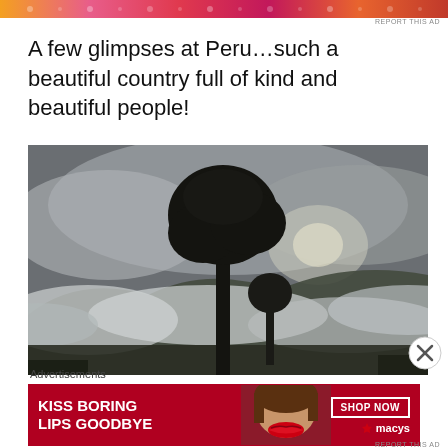[Figure (illustration): Colorful decorative ad banner strip with orange, pink, and patterned design at the top of the page]
REPORT THIS AD
A few glimpses at Peru…such a beautiful country full of kind and beautiful people!
[Figure (photo): Dramatic landscape photograph of a tall tree silhouetted against a cloudy misty sky in Peru, with mountains and fog in the background]
[Figure (illustration): Close button (X in circle) overlay on the right side of the image]
Advertisements
[Figure (illustration): Macy's advertisement banner with red background showing a woman's face with red lips, text 'KISS BORING LIPS GOODBYE', 'SHOP NOW' button, and Macy's star logo]
REPORT THIS AD